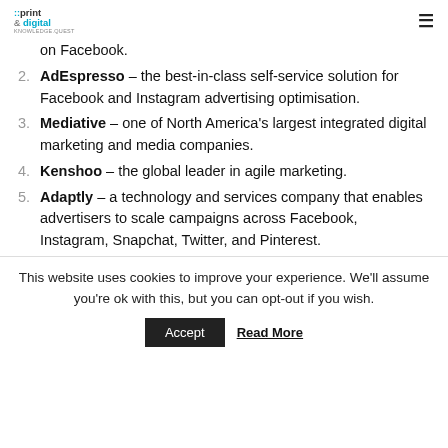::print & digital | knowledge.quest
on Facebook.
2. AdEspresso – the best-in-class self-service solution for Facebook and Instagram advertising optimisation.
3. Mediative – one of North America's largest integrated digital marketing and media companies.
4. Kenshoo – the global leader in agile marketing.
5. Adaptly – a technology and services company that enables advertisers to scale campaigns across Facebook, Instagram, Snapchat, Twitter, and Pinterest.
This website uses cookies to improve your experience. We'll assume you're ok with this, but you can opt-out if you wish.
Accept | Read More